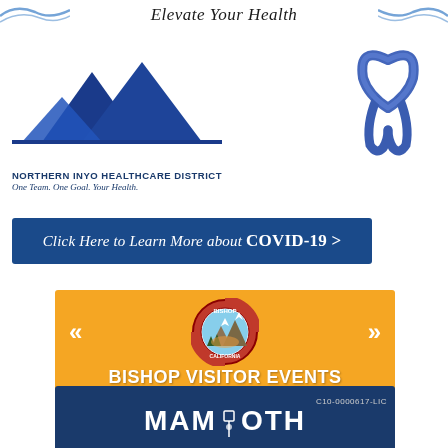[Figure (logo): Decorative swirl/wave graphic on left side of header]
Elevate Your Health
[Figure (logo): Decorative swirl/wave graphic on right side of header]
[Figure (logo): Northern Inyo Healthcare District logo with mountain peaks and text: NORTHERN INYO HEALTHCARE DISTRICT, One Team. One Goal. Your Health.]
[Figure (illustration): Blue awareness ribbon]
[Figure (other): Dark blue button: Click Here to Learn More about COVID-19 >]
[Figure (logo): Bishop California Visitor Events banner in orange with city seal, chevron arrows, text: BISHOP VISITOR EVENTS, here is what's going on...]
[Figure (logo): Mammoth dark blue banner with text: C10-0000617-LIC, MAMMOTH]